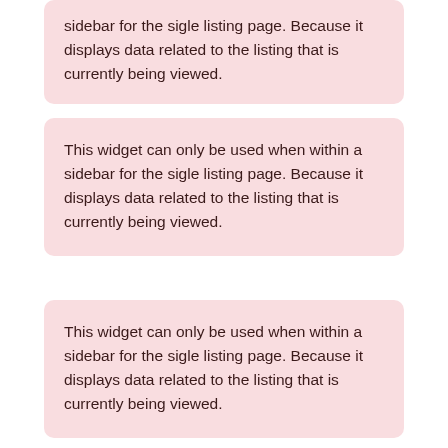sidebar for the sigle listing page. Because it displays data related to the listing that is currently being viewed.
This widget can only be used when within a sidebar for the sigle listing page. Because it displays data related to the listing that is currently being viewed.
This widget can only be used when within a sidebar for the sigle listing page. Because it displays data related to the listing that is currently being viewed.